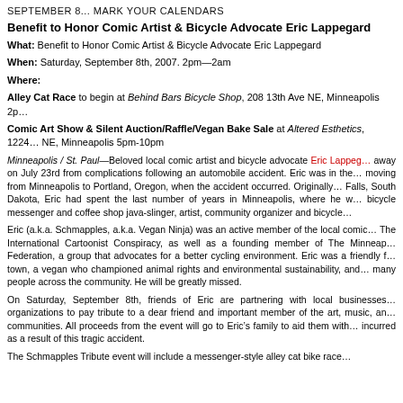SEPTEMBER 8... MARK YOUR CALENDARS
Benefit to Honor Comic Artist & Bicycle Advocate Eric Lappegard
What: Benefit to Honor Comic Artist & Bicycle Advocate Eric Lappegard
When: Saturday, September 8th, 2007. 2pm–2am
Where:
Alley Cat Race to begin at Behind Bars Bicycle Shop, 208 13th Ave NE, Minneapolis 2p...
Comic Art Show & Silent Auction/Raffle/Vegan Bake Sale at Altered Esthetics, 1224... NE, Minneapolis 5pm-10pm
Minneapolis / St. Paul—Beloved local comic artist and bicycle advocate Eric Lappegard passed away on July 23rd from complications following an automobile accident. Eric was in the process of moving from Minneapolis to Portland, Oregon, when the accident occurred. Originally from Sioux Falls, South Dakota, Eric had spent the last number of years in Minneapolis, where he worked as a bicycle messenger and coffee shop java-slinger, artist, community organizer and bicycle advocate.
Eric (a.k.a. Schmapples, a.k.a. Vegan Ninja) was an active member of the local comic community, The International Cartoonist Conspiracy, as well as a founding member of The Minneapolis Bicycle Federation, a group that advocates for a better cycling environment. Eric was a friendly face around town, a vegan who championed animal rights and environmental sustainability, and touched many people across the community. He will be greatly missed.
On Saturday, September 8th, friends of Eric are partnering with local businesses and organizations to pay tribute to a dear friend and important member of the art, music, and cycling communities. All proceeds from the event will go to Eric's family to aid them with expenses incurred as a result of this tragic accident.
The Schmapples Tribute event will include a messenger-style alley cat bike race...